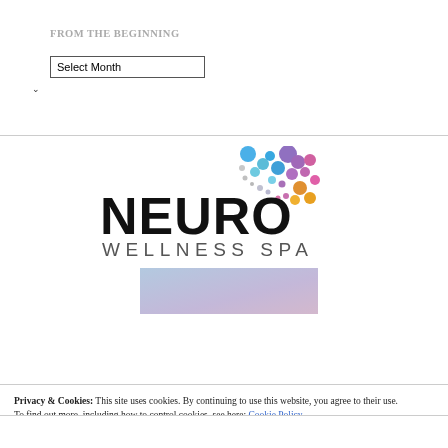FROM THE BEGINNING
Select Month
[Figure (logo): Neuro Wellness Spa logo with colorful bubble/dot brain graphic above text reading NEURO WELLNESS SPA, and a light blue-to-purple gradient banner below]
Privacy & Cookies: This site uses cookies. By continuing to use this website, you agree to their use.
To find out more, including how to control cookies, see here: Cookie Policy
Close and accept
AWARDS: BEST MENTAL HEALTH BLOG FROM NEUROWELLNESS 2020